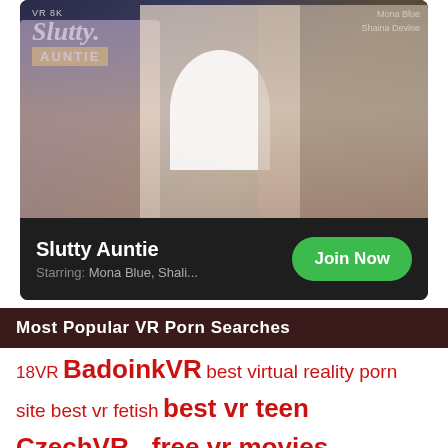[Figure (photo): Advertisement banner for adult VR content titled 'Slutty Auntie' with VR 8K branding, showing promotional image with performer names Mona Blue and Shaina Devine, dark background info bar with title, starring credits, and green Join Now button]
Most Popular VR Porn Searches
18VR BadoinkVR best virtual reality porn site best vr fetish best vr teen CzechVR ... free vr movies